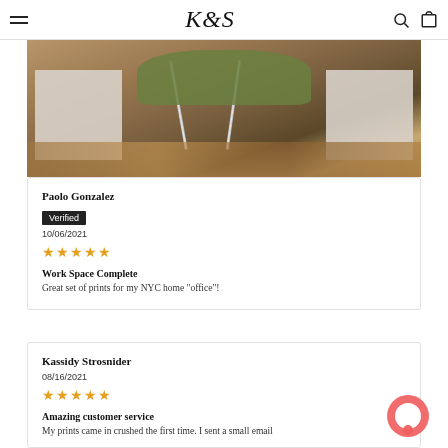K&S logo with navigation menu, search, and cart icons
[Figure (photo): Photo of a green office chair with chrome frame on a wooden floor, with white cube-shaped furniture visible.]
Paolo Gonzalez
Verified
10/06/2021
★★★★★
Work Space Complete
Great set of prints for my NYC home "office"!
Kassidy Strosnider
08/16/2021
★★★★★
Amazing customer service
My prints came in crushed the first time. I sent a small email